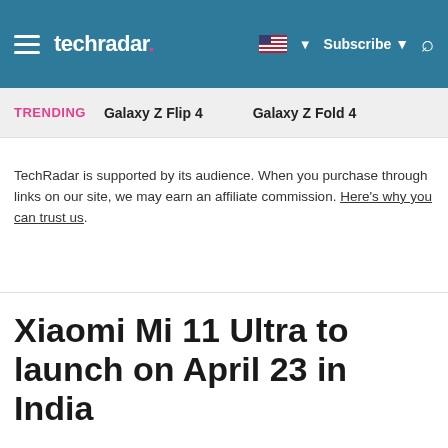techradar | Subscribe | Search
TRENDING   Galaxy Z Flip 4   Galaxy Z Fold 4
TechRadar is supported by its audience. When you purchase through links on our site, we may earn an affiliate commission. Here's why you can trust us.
Xiaomi Mi 11 Ultra to launch on April 23 in India